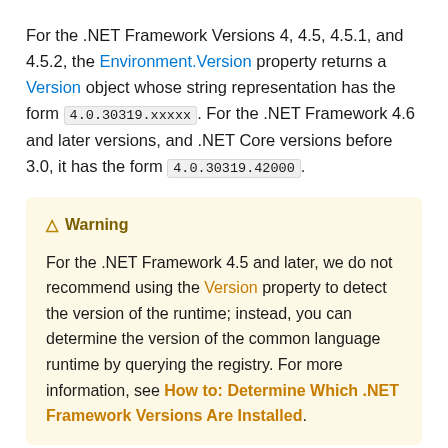For the .NET Framework Versions 4, 4.5, 4.5.1, and 4.5.2, the Environment.Version property returns a Version object whose string representation has the form 4.0.30319.xxxxx. For the .NET Framework 4.6 and later versions, and .NET Core versions before 3.0, it has the form 4.0.30319.42000.
Warning
For the .NET Framework 4.5 and later, we do not recommend using the Version property to detect the version of the runtime; instead, you can determine the version of the common language runtime by querying the registry. For more information, see How to: Determine Which .NET Framework Versions Are Installed.